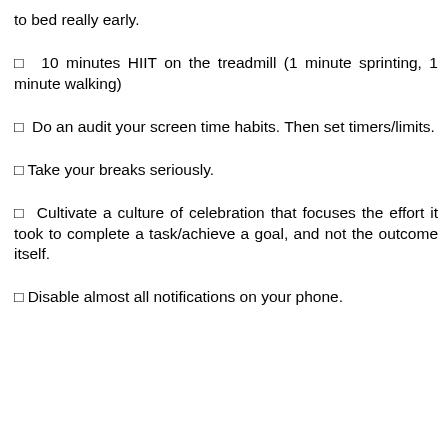to bed really early.
□  10 minutes HIIT on the treadmill (1 minute sprinting, 1 minute walking)
□  Do an audit your screen time habits. Then set timers/limits.
□ Take your breaks seriously.
□  Cultivate a culture of celebration that focuses the effort it took to complete a task/achieve a goal, and not the outcome itself.
□ Disable almost all notifications on your phone.